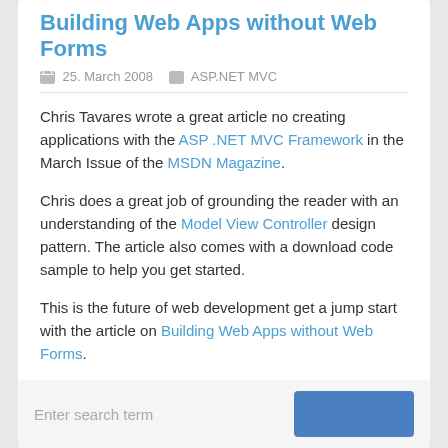Building Web Apps without Web Forms
25. March 2008   ASP.NET MVC
Chris Tavares wrote a great article no creating applications with the ASP .NET MVC Framework in the March Issue of the MSDN Magazine.
Chris does a great job of grounding the reader with an understanding of the Model View Controller design pattern. The article also comes with a download code sample to help you get started.
This is the future of web development get a jump start with the article on Building Web Apps without Web Forms.
Technorati Tags: MSDN Magazine,ASP .NET,MVC,ASP .NET MVC
Enter search term